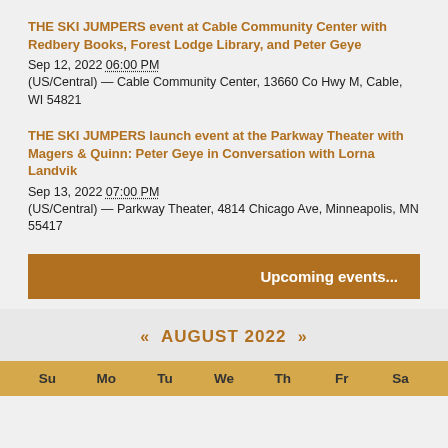THE SKI JUMPERS event at Cable Community Center with Redbery Books, Forest Lodge Library, and Peter Geye
Sep 12, 2022 06:00 PM
(US/Central) — Cable Community Center, 13660 Co Hwy M, Cable, WI 54821
THE SKI JUMPERS launch event at the Parkway Theater with Magers & Quinn: Peter Geye in Conversation with Lorna Landvik
Sep 13, 2022 07:00 PM
(US/Central) — Parkway Theater, 4814 Chicago Ave, Minneapolis, MN 55417
Upcoming events...
« AUGUST 2022 »
Su Mo Tu We Th Fr Sa